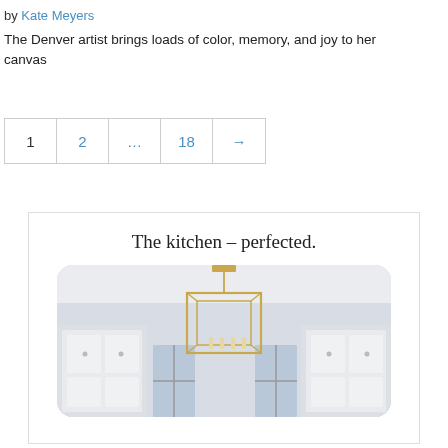by Kate Meyers
The Denver artist brings loads of color, memory, and joy to her canvas
1  2  ...  18  →
[Figure (photo): Advertisement box with the heading 'The kitchen – perfected.' and a photo of a gold geometric pendant chandelier hanging in a white kitchen with white cabinets and shuttered windows.]